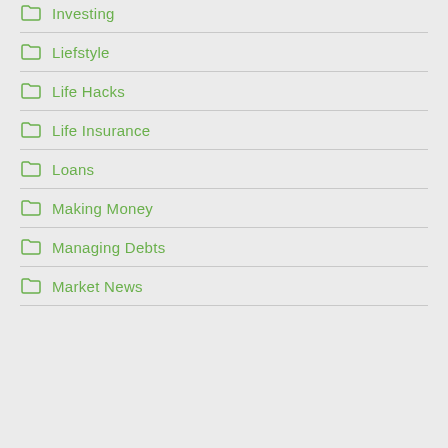Investing
Liefstyle
Life Hacks
Life Insurance
Loans
Making Money
Managing Debts
Market News